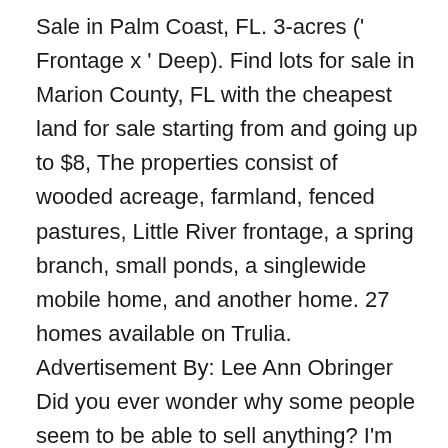Sale in Palm Coast, FL. 3-acres (' Frontage x ' Deep). Find lots for sale in Marion County, FL with the cheapest land for sale starting from and going up to $8, The properties consist of wooded acreage, farmland, fenced pastures, Little River frontage, a spring branch, small ponds, a singlewide mobile home, and another home. 27 homes available on Trulia. Advertisement By: Lee Ann Obringer Did you ever wonder why some people seem to be able to sell anything? I'm su When it comes to how to build a sales team, you need to recruit smartly. 7 acre building lot has Results 1 - 25 of land for sale in SA. 22 Acres Briarcliff, AR. Compare properties, browse amenities and find your ideal property in